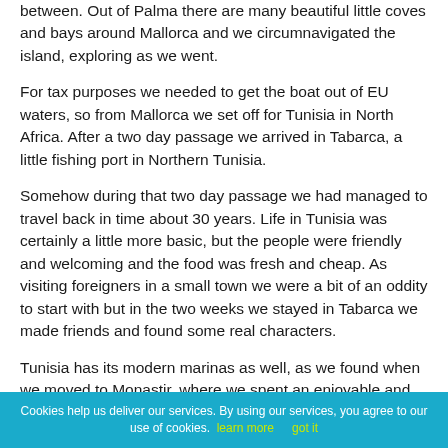between. Out of Palma there are many beautiful little coves and bays around Mallorca and we circumnavigated the island, exploring as we went.
For tax purposes we needed to get the boat out of EU waters, so from Mallorca we set off for Tunisia in North Africa. After a two day passage we arrived in Tabarca, a little fishing port in Northern Tunisia.
Somehow during that two day passage we had managed to travel back in time about 30 years. Life in Tunisia was certainly a little more basic, but the people were friendly and welcoming and the food was fresh and cheap. As visiting foreigners in a small town we were a bit of an oddity to start with but in the two weeks we stayed in Tabarca we made friends and found some real characters.
Tunisia has its modern marinas as well, as we found when we moved to Monastir, where we spent an enjoyable and more modern feeling couple of weeks....
Cookies help us deliver our services. By using our services, you agree to our use of cookies. learn more      got it